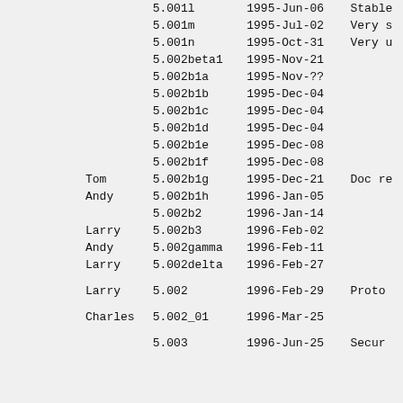| Author | Version | Date | Notes |
| --- | --- | --- | --- |
|  | 5.001l | 1995-Jun-06 | Stable |
|  | 5.001m | 1995-Jul-02 | Very s |
|  | 5.001n | 1995-Oct-31 | Very u |
|  | 5.002beta1 | 1995-Nov-21 |  |
|  | 5.002b1a | 1995-Nov-?? |  |
|  | 5.002b1b | 1995-Dec-04 |  |
|  | 5.002b1c | 1995-Dec-04 |  |
|  | 5.002b1d | 1995-Dec-04 |  |
|  | 5.002b1e | 1995-Dec-08 |  |
|  | 5.002b1f | 1995-Dec-08 |  |
| Tom | 5.002b1g | 1995-Dec-21 | Doc re |
| Andy | 5.002b1h | 1996-Jan-05 |  |
|  | 5.002b2 | 1996-Jan-14 |  |
| Larry | 5.002b3 | 1996-Feb-02 |  |
| Andy | 5.002gamma | 1996-Feb-11 |  |
| Larry | 5.002delta | 1996-Feb-27 |  |
| Larry | 5.002 | 1996-Feb-29 | Proto |
| Charles | 5.002_01 | 1996-Mar-25 |  |
|  | 5.003 | 1996-Jun-25 | Secur |